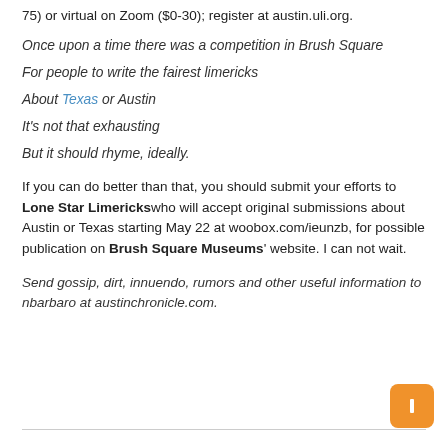75) or virtual on Zoom ($0-30); register at austin.uli.org.
Once upon a time there was a competition in Brush Square
For people to write the fairest limericks
About Texas or Austin
It's not that exhausting
But it should rhyme, ideally.
If you can do better than that, you should submit your efforts to Lone Star Limericks who will accept original submissions about Austin or Texas starting May 22 at woobox.com/ieunzb, for possible publication on Brush Square Museums' website. I can not wait.
Send gossip, dirt, innuendo, rumors and other useful information to nbarbaro at austinchronicle.com.